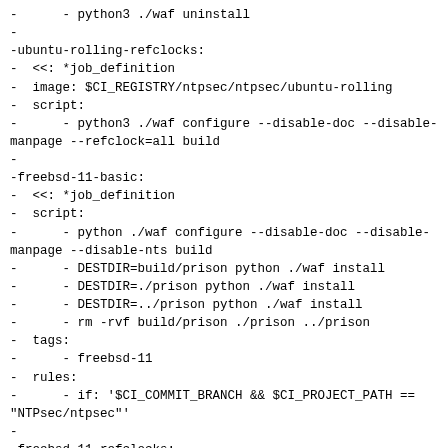-      - python3 ./waf uninstall
-
-ubuntu-rolling-refclocks:
-  <<: *job_definition
-  image: $CI_REGISTRY/ntpsec/ntpsec/ubuntu-rolling
-  script:
-      - python3 ./waf configure --disable-doc --disable-manpage --refclock=all build
-
-freebsd-11-basic:
-  <<: *job_definition
-  script:
-      - python ./waf configure --disable-doc --disable-manpage --disable-nts build
-      - DESTDIR=build/prison python ./waf install
-      - DESTDIR=./prison python ./waf install
-      - DESTDIR=../prison python ./waf install
-      - rm -rvf build/prison ./prison ../prison
-  tags:
-      - freebsd-11
-  rules:
-      - if: '$CI_COMMIT_BRANCH && $CI_PROJECT_PATH ==
"NTPsec/ntpsec"'
-
-freebsd-11-refclocks:
-  <<: *job_definition
-  script:
-      - python ./waf configure --disable-doc --disable-manpage --disable-nts --refclock=all build
-  tags: